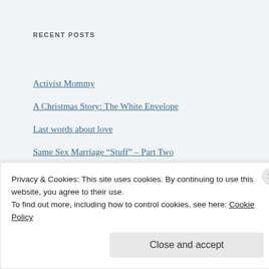RECENT POSTS
Activist Mommy
A Christmas Story: The White Envelope
Last words about love
Same Sex Marriage “Stuff” – Part Two
Same Sex Marriage “Stuff” – Part One
[Figure (illustration): Add to Technorati Favorites button with broken image icon, and a banner image reading 'Seeking the common ground' with a golden/sandy background]
Privacy & Cookies: This site uses cookies. By continuing to use this website, you agree to their use.
To find out more, including how to control cookies, see here: Cookie Policy
Close and accept